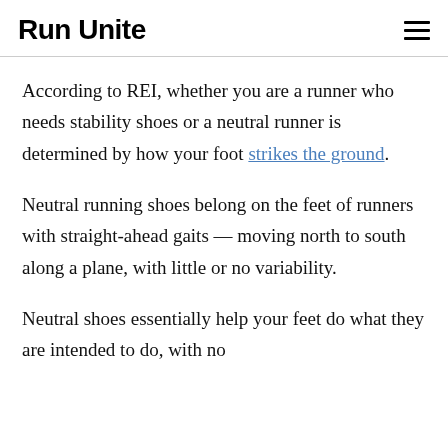Run Unite
According to REI, whether you are a runner who needs stability shoes or a neutral runner is determined by how your foot strikes the ground.
Neutral running shoes belong on the feet of runners with straight-ahead gaits — moving north to south along a plane, with little or no variability.
Neutral shoes essentially help your feet do what they are intended to do, with no